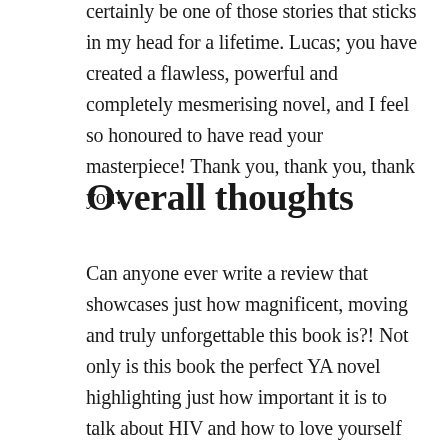certainly be one of those stories that sticks in my head for a lifetime. Lucas; you have created a flawless, powerful and completely mesmerising novel, and I feel so honoured to have read your masterpiece! Thank you, thank you, thank you!
Overall thoughts
Can anyone ever write a review that showcases just how magnificent, moving and truly unforgettable this book is?! Not only is this book the perfect YA novel highlighting just how important it is to talk about HIV and how to love yourself and others fiercely, regardless of who they are, but it's also the perfect tool for younger readers to learn more about the topic of HIV.